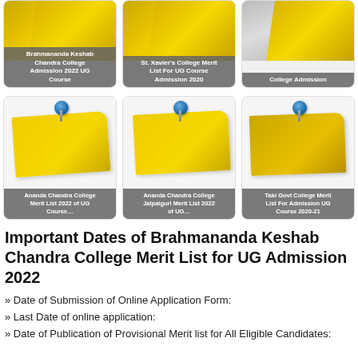[Figure (illustration): Three card thumbnails showing college admission links: Brahmananda Keshab Chandra College Admission 2022 UG Course, St. Xavier's College Merit List For UG Course Admission 2020, College Admission]
[Figure (illustration): Three card thumbnails with yellow sticky notes and blue pins: Ananda Chandra College Merit List 2022 of UG Course..., Ananda Chandra College Jalpaiguri Merit List 2022 of UG..., Taki Govt College Merit List For Admission UG Course 2020-21]
Important Dates of Brahmananda Keshab Chandra College Merit List for UG Admission 2022
» Date of Submission of Online Application Form:
» Last Date of online application:
» Date of Publication of Provisional Merit list for All Eligible Candidates: